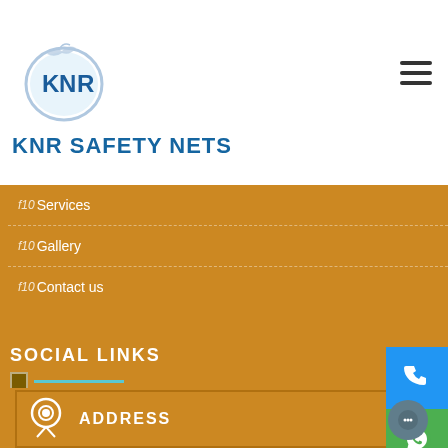[Figure (logo): KNR Safety Nets circular logo with bird and KNR text inside]
KNR SAFETY NETS
[Figure (other): Hamburger menu icon (three horizontal lines)]
f10Services
f10Gallery
f10Contact us
SOCIAL LINKS
[Figure (other): Facebook and Twitter social media icon buttons]
[Figure (other): Phone call button (blue)]
[Figure (other): WhatsApp button (green)]
ADDRESS
[Figure (other): Live chat button (grey circle)]